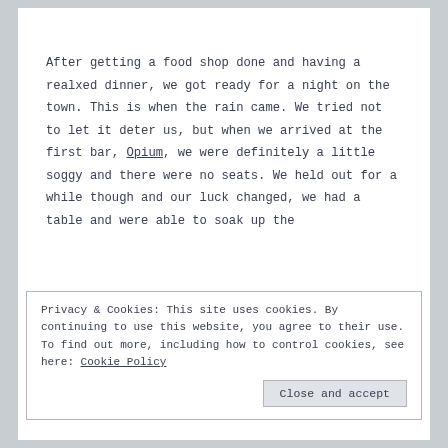After getting a food shop done and having a realxed dinner, we got ready for a night on the town. This is when the rain came. We tried not to let it deter us, but when we arrived at the first bar, Opium, we were definitely a little soggy and there were no seats. We held out for a while though and our luck changed, we had a table and were able to soak up the
Privacy & Cookies: This site uses cookies. By continuing to use this website, you agree to their use.
To find out more, including how to control cookies, see here: Cookie Policy